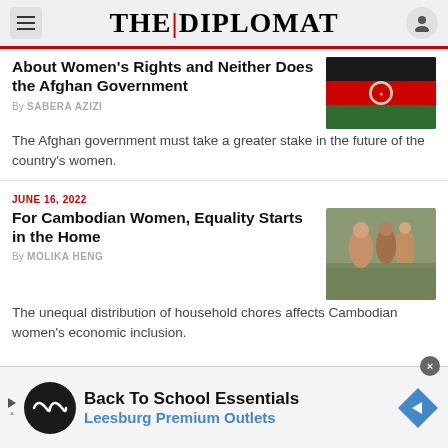THE DIPLOMAT
About Women's Rights and Neither Does the Afghan Government
By SABERA AZIZI
The Afghan government must take a greater stake in the future of the country's women.
JUNE 16, 2022
For Cambodian Women, Equality Starts in the Home
By MOLIKA HENG
The unequal distribution of household chores affects Cambodian women's economic inclusion.
[Figure (photo): Afghan flag]
[Figure (photo): Cambodian women with baby]
Back To School Essentials Leesburg Premium Outlets